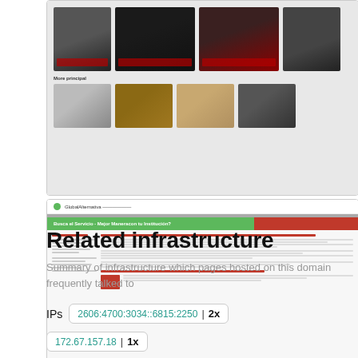[Figure (screenshot): Screenshot of a website showing image gallery rows with dark/colored thumbnails and a 'More principal' section label]
[Figure (screenshot): Screenshot of a website with green header bar, red accent bar, sidebar content, main article content with red headings in Spanish, and a footer image section]
Related infrastructure
Summary of infrastructure which pages hosted on this domain frequently talked to
IPs  2606:4700:3034::6815:2250 | 2x
172.67.157.18 | 1x